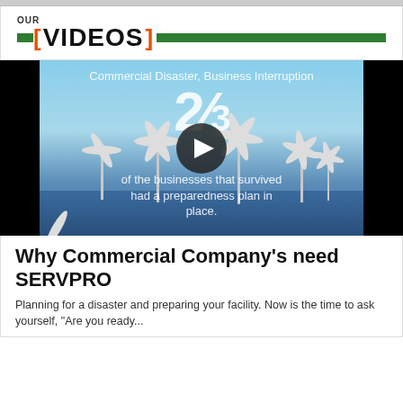OUR VIDEOS
[Figure (screenshot): Video thumbnail showing wind turbines over water with text overlay: 'Commercial Disaster, Business Interruption', '2/3', 'of the businesses that survived had a preparedness plan in place.' with a play button in the center.]
Why Commercial Company's need SERVPRO
Planning for a disaster and preparing your facility. Now is the time to ask yourself, "Are you ready...